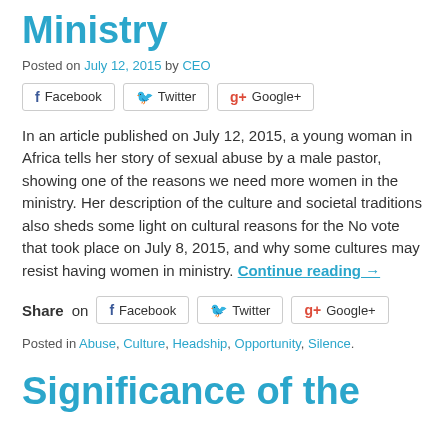Ministry
Posted on July 12, 2015 by CEO
In an article published on July 12, 2015, a young woman in Africa tells her story of sexual abuse by a male pastor, showing one of the reasons we need more women in the ministry. Her description of the culture and societal traditions also sheds some light on cultural reasons for the No vote that took place on July 8, 2015, and why some cultures may resist having women in ministry. Continue reading →
Share on Facebook Twitter Google+
Posted in Abuse, Culture, Headship, Opportunity, Silence.
Significance of the